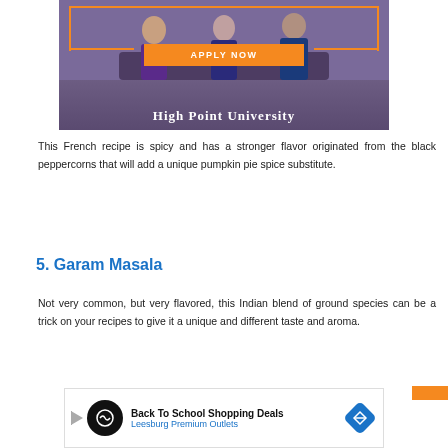[Figure (photo): High Point University advertisement banner with people in a meeting room, orange 'APPLY NOW' button, and purple background with university name]
This French recipe is spicy and has a stronger flavor originated from the black peppercorns that will add a unique pumpkin pie spice substitute.
5. Garam Masala
Not very common, but very flavored, this Indian blend of ground species can be a trick on your recipes to give it a unique and different taste and aroma.
[Figure (other): Back To School Shopping Deals advertisement for Leesburg Premium Outlets]